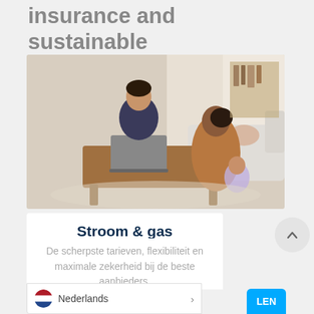Insurance and sustainable products
[Figure (photo): A family scene indoors: a man with a laptop on a wooden coffee table smiling, a woman in a brown fleece jacket sitting on the floor with a young child in a purple hat, white sofa and shelving in background.]
Stroom & gas
De scherpste tarieven, flexibiliteit en maximale zekerheid bij de beste aanbieders.
Nederlands >
LEN